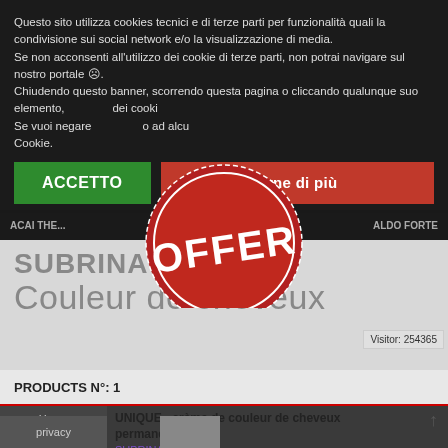Questo sito utilizza cookies tecnici e di terze parti per funzionalità quali la condivisione sui social network e/o la visualizzazione di media. Se non acconsenti all'utilizzo dei cookie di terze parti, non potrai navigare sul nostro portale ☹. Chiudendo questo banner, scorrendo questa pagina o cliccando qualunque suo elemento, acconsenti all'uso dei cookie. Se vuoi negare il consenso ad alcuni o tutti cookie, clicca qui Cookie.
[Figure (other): Red circular stamp/badge with white text 'OFFER' in bold, with dashed border ring, overlapping the cookie consent and navigation areas]
ACAI THER... | ALDO FORTE
SUBRINA
Couleur de cheveux
Visitor: 254365
PRODUCTS N°: 1
UNIQUE - crème de couleur de cheveux permanente
SUBRINA
unique est basé sur la technologie service
Home Page
privacy